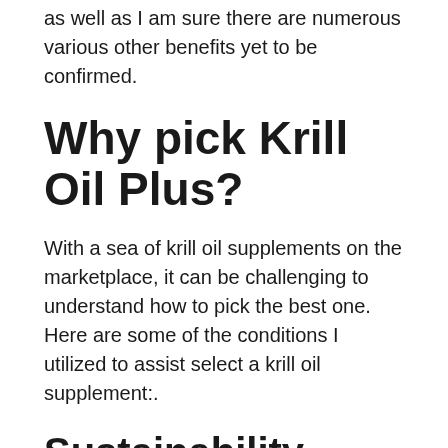as well as I am sure there are numerous various other benefits yet to be confirmed.
Why pick Krill Oil Plus?
With a sea of krill oil supplements on the marketplace, it can be challenging to understand how to pick the best one. Here are some of the conditions I utilized to assist select a krill oil supplement:.
Sustainability.
The planet is a limited source and also it is something most of us have a responsibility to take into consideration, not just for our